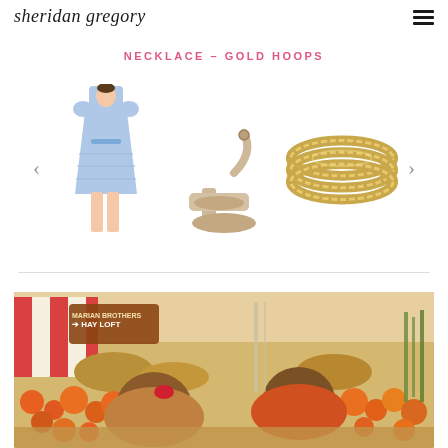sheridan gregory
NECKLACE – GOLD HOOPS
[Figure (illustration): Carousel of three product images: a blue midi dress, a nude block-heel sandal, and a gold beaded cuff bracelet, with left and right navigation arrows]
[Figure (photo): Two young children at a pumpkin patch with a HAY LOFT sign, red and white striped tent, and many pumpkins in the foreground]